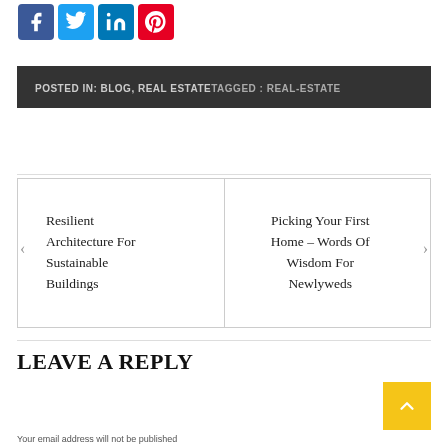[Figure (logo): Social share icons: Facebook (blue), Twitter (light blue), LinkedIn (blue), Pinterest (red)]
POSTED IN: BLOG, REAL ESTATETAGGED : REAL-ESTATE
Resilient Architecture For Sustainable Buildings
Picking Your First Home – Words Of Wisdom For Newlyweds
LEAVE A REPLY